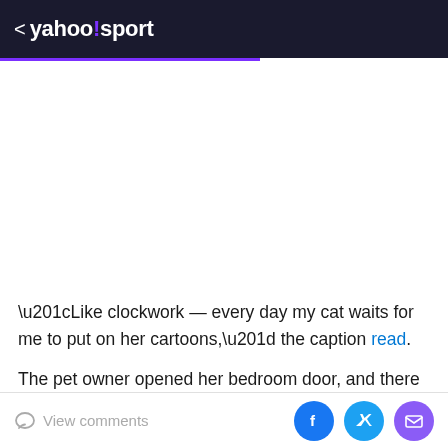< yahoo!sport
[Figure (photo): Blank white image placeholder area]
“Like clockwork — every day my cat waits for me to put on her cartoons,” the caption read.
The pet owner opened her bedroom door, and there was
View comments  [Facebook] [Twitter] [Mail]